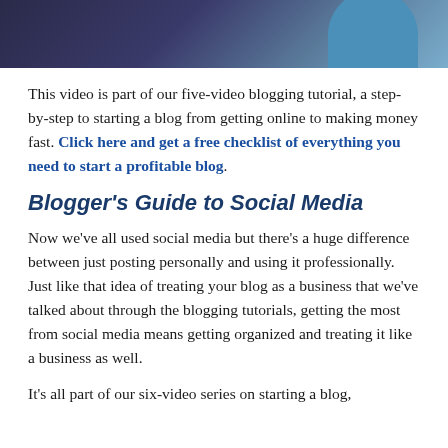[Figure (photo): Partial photo strip at top showing a person in a blue shirt against a dark background]
This video is part of our five-video blogging tutorial, a step-by-step to starting a blog from getting online to making money fast. Click here and get a free checklist of everything you need to start a profitable blog.
Blogger's Guide to Social Media
Now we've all used social media but there's a huge difference between just posting personally and using it professionally. Just like that idea of treating your blog as a business that we've talked about through the blogging tutorials, getting the most from social media means getting organized and treating it like a business as well.
It's all part of our six-video series on starting a blog,